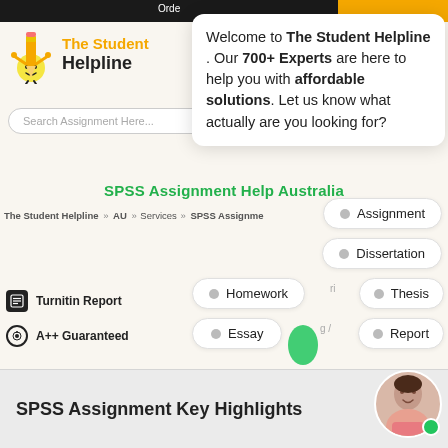[Figure (screenshot): The Student Helpline website header with logo, pencil mascot character, search bar, and chat popup overlay showing welcome message. Page shows SPSS Assignment Help Australia with breadcrumb navigation, assignment type pills (Assignment, Dissertation, Homework, Thesis, Essay, Report), feature badges (Turnitin Report, A++ Guaranteed), and SPSS Assignment Key Highlights section at bottom.]
The Student Helpline
Welcome to The Student Helpline . Our 700+ Experts are here to help you with affordable solutions. Let us know what actually are you looking for?
Search Assignment Here...
SPSS Assignment Help Australia
The Student Helpline » AU » Services » SPSS Assignment Help AU
Assignment
Dissertation
Homework
Thesis
Essay
Report
Turnitin Report
A++ Guaranteed
SPSS Assignment Key Highlights